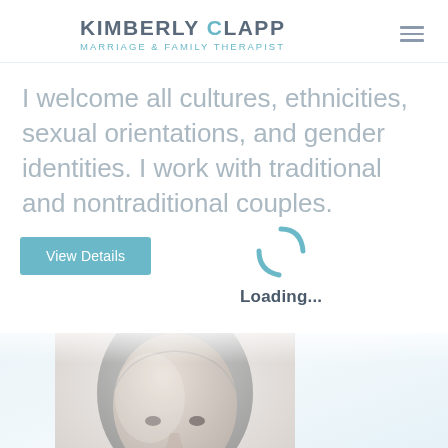KIMBERLY CLAPP MARRIAGE & FAMILY THERAPIST
I welcome all cultures, ethnicities, sexual orientations, and gender identities. I work with traditional and nontraditional couples.
[Figure (screenshot): View Details button, a loading spinner with 'Loading...' text, a person's face partially visible at bottom, and a Disable Preloader button]
Loading...
Disable Preloader